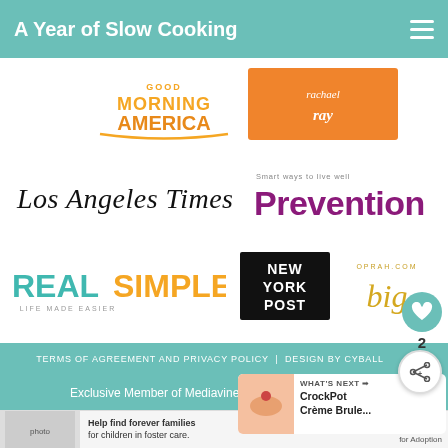A Year of Slow Cooking
[Figure (logo): Good Morning America logo - orange and yellow text on white]
[Figure (logo): Rachael Ray logo - white text on orange background]
[Figure (logo): Los Angeles Times logo - black serif text]
[Figure (logo): Prevention magazine logo - purple text with tagline Smart ways to live well]
[Figure (logo): Real Simple logo - teal and orange text with tagline LIFE MADE EASIER]
[Figure (logo): New York Post logo - black block text]
[Figure (logo): Oprah.com logo - cursive gold text]
TERMS OF AGREEMENT AND PRIVACY POLICY  |  DESIGN BY CYBALL
Exclusive Member of Mediavine Food
WHAT'S NEXT → CrockPot Crème Brule...